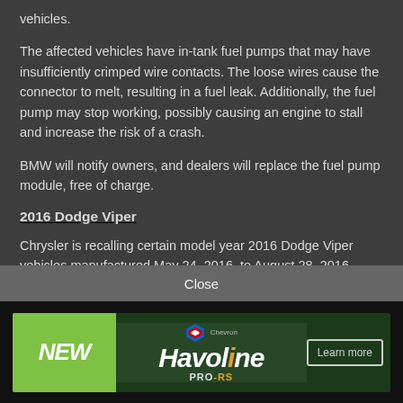vehicles.
The affected vehicles have in-tank fuel pumps that may have insufficiently crimped wire contacts. The loose wires cause the connector to melt, resulting in a fuel leak. Additionally, the fuel pump may stop working, possibly causing an engine to stall and increase the risk of a crash.
BMW will notify owners, and dealers will replace the fuel pump module, free of charge.
2016 Dodge Viper
Chrysler is recalling certain model year 2016 Dodge Viper vehicles manufactured May 24, 2016, to August 28, 2016.
The wires for the driver's frontal air bag may be pinched. If
[Figure (other): Close button bar overlay in gray]
[Figure (other): Chevron Havoline PRO-RS advertisement banner with NEW text on green background and Learn more button]